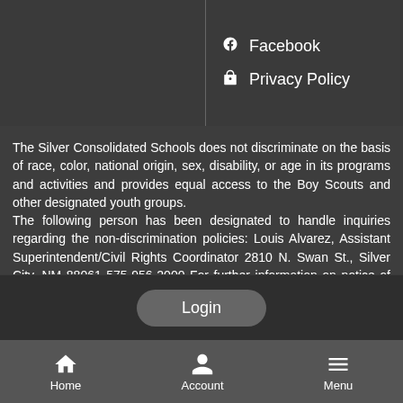Facebook
Privacy Policy
The Silver Consolidated Schools does not discriminate on the basis of race, color, national origin, sex, disability, or age in its programs and activities and provides equal access to the Boy Scouts and other designated youth groups. The following person has been designated to handle inquiries regarding the non-discrimination policies: Louis Alvarez, Assistant Superintendent/Civil Rights Coordinator 2810 N. Swan St., Silver City, NM 88061 575-956-2000 For further information on notice of nondiscrimination, or for the address and phone number of the office that serves your area, call 1-800-421-3481.
Login
Home  Account  Menu